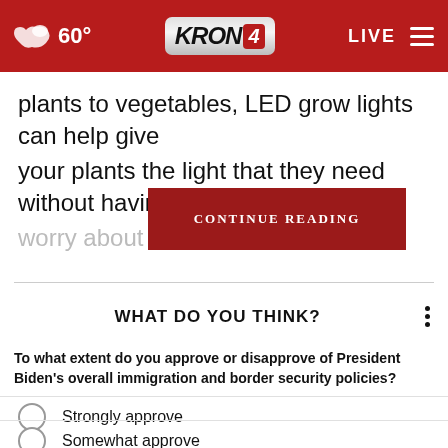60° KRON4 LIVE
plants to vegetables, LED grow lights can help give your plants the light that they need without having to worry about cr
CONTINUE READING
WHAT DO YOU THINK?
To what extent do you approve or disapprove of President Biden's overall immigration and border security policies?
Strongly approve
Somewhat approve
Somewhat disapprove
Strongly disapprove